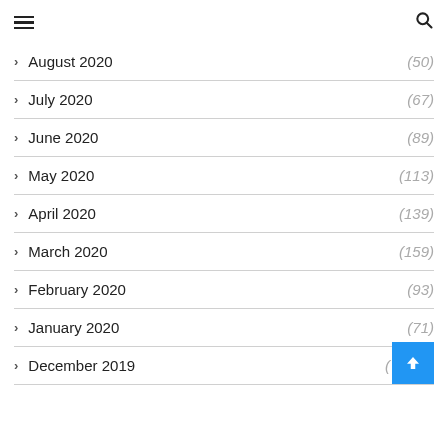Navigation menu and search icon
August 2020 (50)
July 2020 (67)
June 2020 (89)
May 2020 (113)
April 2020 (139)
March 2020 (159)
February 2020 (93)
January 2020 (71)
December 2019 (